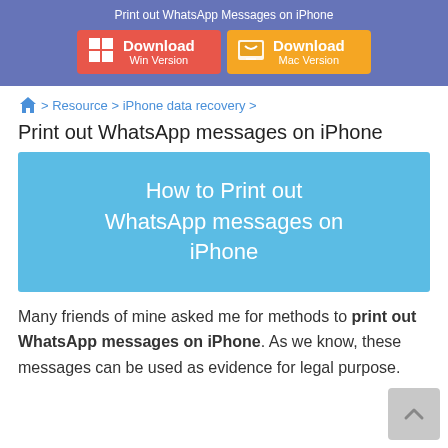Print out WhatsApp Messages on iPhone
[Figure (infographic): Two download buttons: one for Win Version (red background with Windows logo) and one for Mac Version (orange background with Finder logo)]
> Resource > iPhone data recovery >
Print out WhatsApp messages on iPhone
[Figure (infographic): Blue banner image with white text reading 'How to Print out WhatsApp messages on iPhone']
Many friends of mine asked me for methods to print out WhatsApp messages on iPhone. As we know, these messages can be used as evidence for legal purpose.